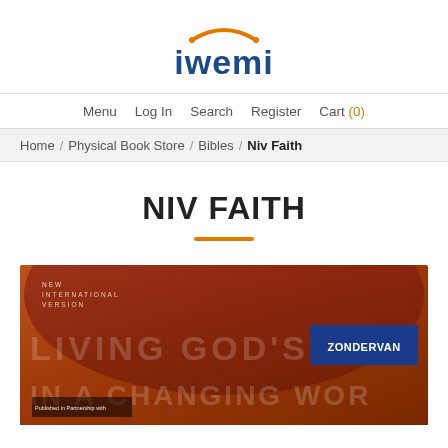[Figure (logo): iwemi logo with orange arc above blue lowercase text 'iwemi']
Menu  Log In  Search  Register  Cart (0)
Home / Physical Book Store / Bibles / Niv Faith
NIV FAITH
[Figure (photo): Book cover of NIV Faith Bible — New International Version, orange/brown background with large faded text 'LIVING GOD'S WORD IN A CHANGING WORLD', Zondervan publisher logo in blue box upper right, 'Published in Partnership with' text lower left.]